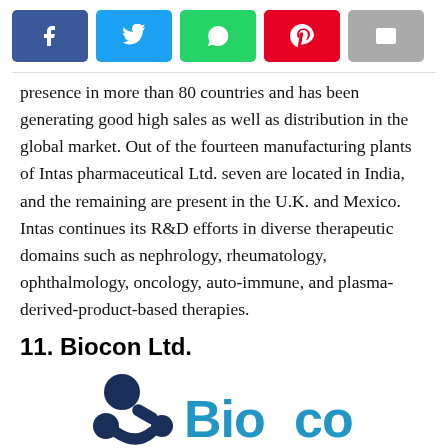[Figure (other): Social media share buttons: Facebook (blue), Twitter (light blue), WhatsApp (green), Pinterest (red), Email (grey)]
presence in more than 80 countries and has been generating good high sales as well as distribution in the global market. Out of the fourteen manufacturing plants of Intas pharmaceutical Ltd. seven are located in India, and the remaining are present in the U.K. and Mexico. Intas continues its R&D efforts in diverse therapeutic domains such as nephrology, rheumatology, ophthalmology, oncology, auto-immune, and plasma-derived-product-based therapies.
11. Biocon Ltd.
[Figure (logo): Biocon Ltd. logo showing dark blue abstract molecule/connectivity icon and blue text 'Biocon' partially visible]